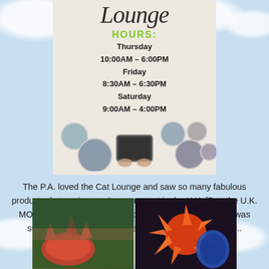[Figure (photo): Sign showing 'Lounge' in cursive with hours: Thursday 10:00AM-6:00PM, Friday 8:30AM-6:30PM, Saturday 9:00AM-4:00PM, with circular photos of people and a tablet at the bottom]
The P.A. loved the Cat Lounge and saw so many fabulous products that we just can't seem to get in the U.K. [Boo the U.K. MOL!!!] but anyhoo, she said the quality of the products was superb and if only the peeps would get stockists here....
[Figure (photo): Two photos side by side showing colorful decorative cat beds/products at what appears to be a trade show]